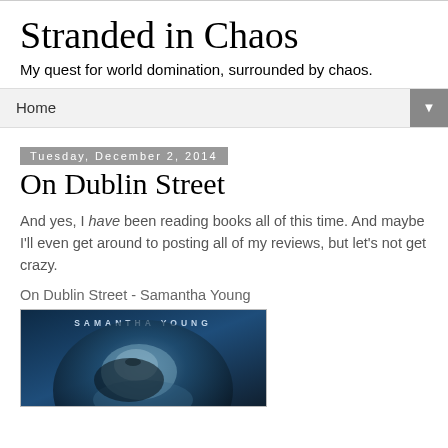Stranded in Chaos
My quest for world domination, surrounded by chaos.
Home
Tuesday, December 2, 2014
On Dublin Street
And yes, I have been reading books all of this time. And maybe I'll even get around to posting all of my reviews, but let's not get crazy.
On Dublin Street - Samantha Young
[Figure (photo): Book cover for 'On Dublin Street' by Samantha Young, showing a woman with her head tilted back on a dark blue background, with the author's name 'SAMANTHA YOUNG' at the top in spaced letters.]